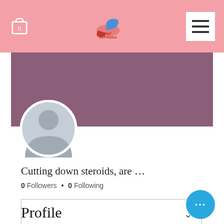[Figure (screenshot): Top navigation bar with pink background, cart icon with 0, DePetalos logo in center, and hamburger menu on right]
[Figure (screenshot): Purple/mauve profile banner with Follow button and three-dot menu, and a default gray avatar icon]
Cutting down steroids, are …
0 Followers • 0 Following
[Figure (screenshot): Dropdown selector box with chevron]
Profile
[Figure (screenshot): Blue floating action button with three dots]